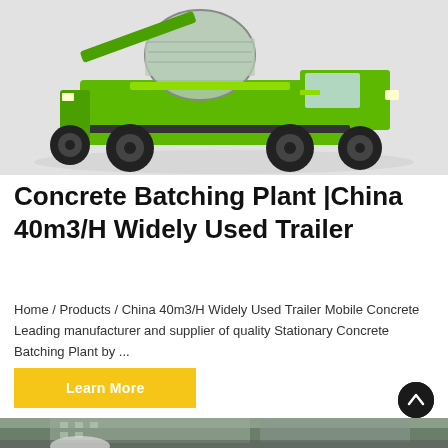[Figure (photo): Green self-loading concrete mixer truck photographed against a light gray background]
Concrete Batching Plant |China 40m3/H Widely Used Trailer
Home / Products / China 40m3/H Widely Used Trailer Mobile Concrete Leading manufacturer and supplier of quality Stationary Concrete Batching Plant by ...
[Figure (photo): Outdoor construction site with a large building in background, concrete mixing equipment visible in foreground]